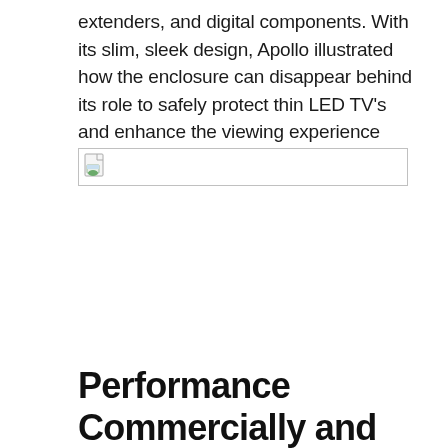extenders, and digital components. With its slim, sleek design, Apollo illustrated how the enclosure can disappear behind its role to safely protect thin LED TV's and enhance the viewing experience outdoors.
[Figure (photo): Broken/missing image placeholder with small landscape icon in the top-left corner, showing a white rectangle with a thin border]
Performance Commercially and